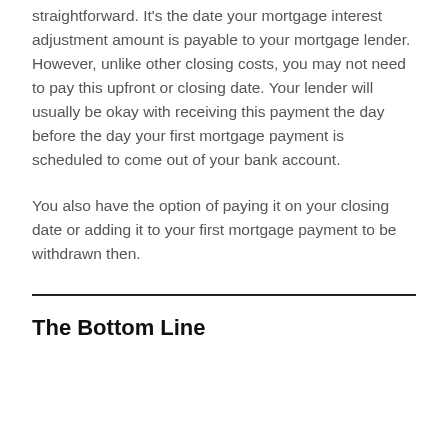straightforward. It's the date your mortgage interest adjustment amount is payable to your mortgage lender. However, unlike other closing costs, you may not need to pay this upfront or closing date. Your lender will usually be okay with receiving this payment the day before the day your first mortgage payment is scheduled to come out of your bank account.
You also have the option of paying it on your closing date or adding it to your first mortgage payment to be withdrawn then.
The Bottom Line